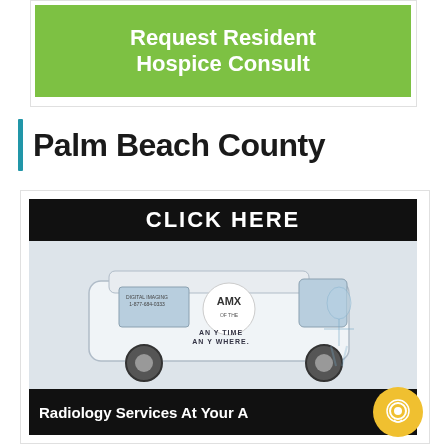[Figure (screenshot): Green banner button with white bold text reading 'Request Resident Hospice Consult']
Palm Beach County
[Figure (screenshot): Advertisement for AMX radiology services showing a white medical van with 'CLICK HERE' black header bar and 'Radiology Services At Your A[bode]' black footer bar. Van features AMX logo and 'ANYTIME ANYWHERE' text with X-ray imagery.]